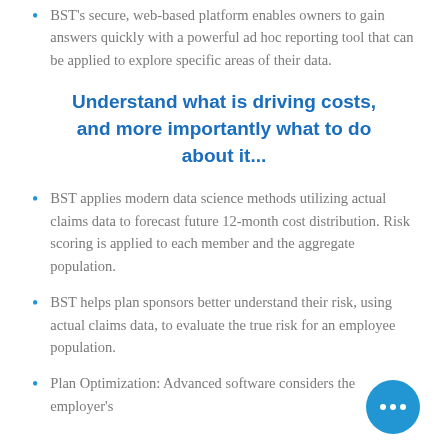BST's secure, web-based platform enables owners to gain answers quickly with a powerful ad hoc reporting tool that can be applied to explore specific areas of their data.
Understand what is driving costs, and more importantly what to do about it...
BST applies modern data science methods utilizing actual claims data to forecast future 12-month cost distribution. Risk scoring is applied to each member and the aggregate population.
BST helps plan sponsors better understand their risk, using actual claims data, to evaluate the true risk for an employee population.
Plan Optimization:  Advanced software considers the employer's